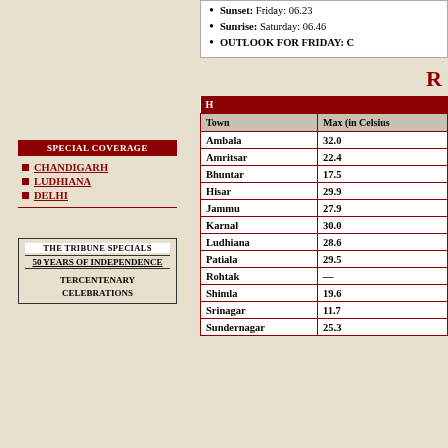Sunset: Friday: 06.23
Sunrise: Saturday: 06.46
OUTLOOK FOR FRIDAY: C
SPECIAL COVERAGE
CHANDIGARH
LUDHIANA
DELHI
THE TRIBUNE SPECIALS
50 YEARS OF INDEPENDENCE
TERCENTENARY CELEBRATIONS
R
| Town | Max (in Celsius |
| --- | --- |
| Ambala | 32.0 |
| Amritsar | 22.4 |
| Bhuntar | 17.5 |
| Hisar | 29.9 |
| Jammu | 27.9 |
| Karnal | 30.0 |
| Ludhiana | 28.6 |
| Patiala | 29.5 |
| Rohtak | — |
| Shimla | 19.6 |
| Srinagar | 11.7 |
| Sundernagar | 25.3 |